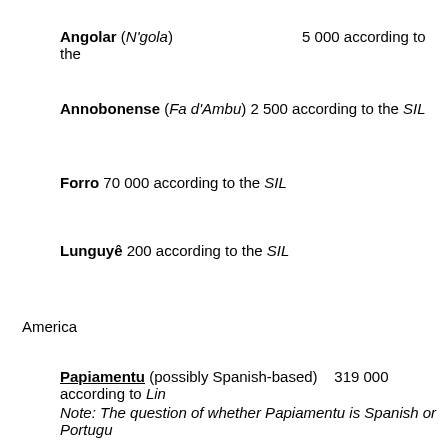Angolar (N'gola) 5 000 according to the
Annobonense (Fa d'Ambu) 2 500 according to the SIL
Forro 70 000 according to the SIL
Lunguyê 200 according to the SIL
America
Papiamentu (possibly Spanish-based) 319 000 according to Lin
Note: The question of whether Papiamentu is Spanish or Portugu
Cafundo 40 according to the SIL
Asia